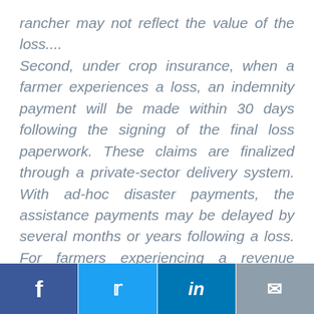rancher may not reflect the value of the loss.... Second, under crop insurance, when a farmer experiences a loss, an indemnity payment will be made within 30 days following the signing of the final loss paperwork. These claims are finalized through a private-sector delivery system. With ad-hoc disaster payments, the assistance payments may be delayed by several months or years following a loss. For farmers experiencing a revenue decline or a
Facebook | Twitter | LinkedIn | Email